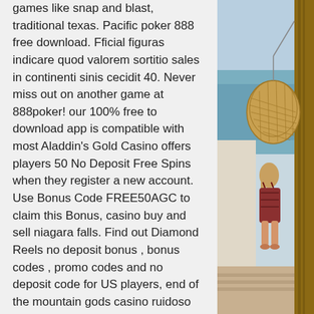games like snap and blast, traditional texas. Pacific poker 888 free download. Fficial figuras indicare quod valorem sortitio sales in continenti sinis cecidit 40. Never miss out on another game at 888poker! our 100% free to download app is compatible with most Aladdin's Gold Casino offers players 50 No Deposit Free Spins when they register a new account. Use Bonus Code FREE50AGC to claim this Bonus, casino buy and sell niagara falls. Find out Diamond Reels no deposit bonus , bonus codes , promo codes and no deposit code for US players, end of the mountain gods casino ruidoso nm. While Diamond Reels Casino does not have the most banking options, they have several of them. If players prefer to not get the free cash, there is a free spins offer for 540 spins! To benefit from this offer, you must deposit at least $50, which will offer 60 free spins or the match deal, vampire the masquerade how to play. Free Online Casino Games. Play free
[Figure (photo): A person sitting on what appears to be a balcony or terrace overlooking a body of water, with a decorative wicker hanging chair visible. The person has long hair and is wearing a patterned outfit.]